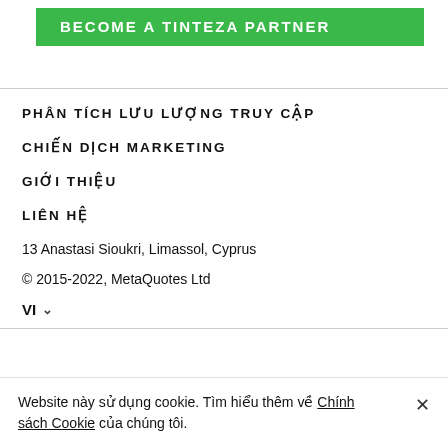[Figure (other): Green button banner with text 'BECOME A TINTEZA PARTNER']
PHÂN TÍCH LƯU LƯỢNG TRUY CẬP
CHIẾN DỊCH MARKETING
GIỚI THIỆU
LIÊN HỆ
13 Anastasi Sioukri, Limassol, Cyprus
© 2015-2022, MetaQuotes Ltd
VI ˅
Website này sử dụng cookie. Tìm hiểu thêm về Chính sách Cookie của chúng tôi.